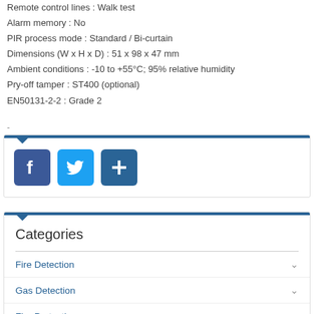Remote control lines : Walk test
Alarm memory : No
PIR process mode : Standard / Bi-curtain
Dimensions (W x H x D) : 51 x 98 x 47 mm
Ambient conditions : -10 to +55°C; 95% relative humidity
Pry-off tamper : ST400 (optional)
EN50131-2-2 : Grade 2
-
[Figure (infographic): Social share bar with Facebook, Twitter, and a blue plus/share button icons]
Categories
Fire Detection
Gas Detection
Fire Protection